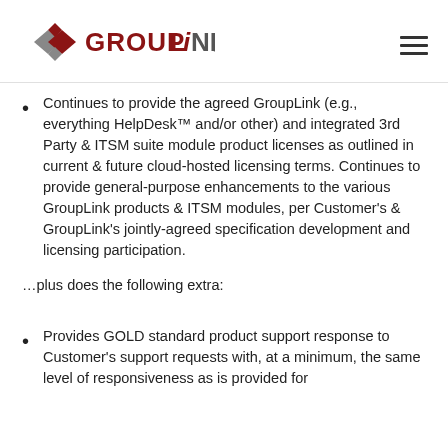[Figure (logo): GroupLink logo with diamond/cross icon in red and grey, company name in dark red and grey text]
Continues to provide the agreed GroupLink (e.g., everything HelpDesk™ and/or other) and integrated 3rd Party & ITSM suite module product licenses as outlined in current & future cloud-hosted licensing terms. Continues to provide general-purpose enhancements to the various GroupLink products & ITSM modules, per Customer's & GroupLink's jointly-agreed specification development and licensing participation.
…plus does the following extra:
Provides GOLD standard product support response to Customer's support requests with, at a minimum, the same level of responsiveness as is provided for